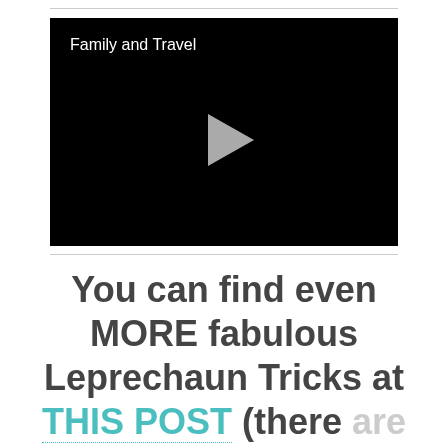[Figure (screenshot): Black video player thumbnail with white text 'Family and Travel' in the top-left and a grey play button triangle in the center]
You can find even MORE fabulous Leprechaun Tricks at THIS POST (there are lots of great pictures to help you understand